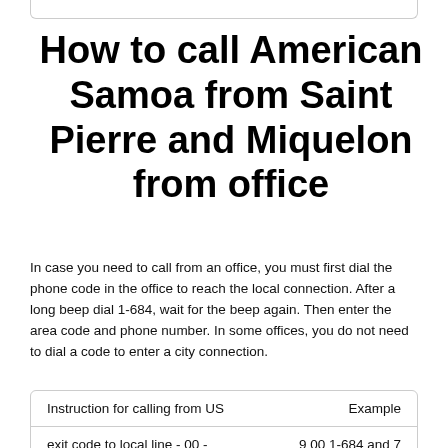How to call American Samoa from Saint Pierre and Miquelon from office
In case you need to call from an office, you must first dial the phone code in the office to reach the local connection. After a long beep dial 1-684, wait for the beep again. Then enter the area code and phone number. In some offices, you do not need to dial a code to enter a city connection.
| Instruction for calling from US | Example |
| --- | --- |
| exit code to local line - 00 - | 9 00 1-684 and 7 |